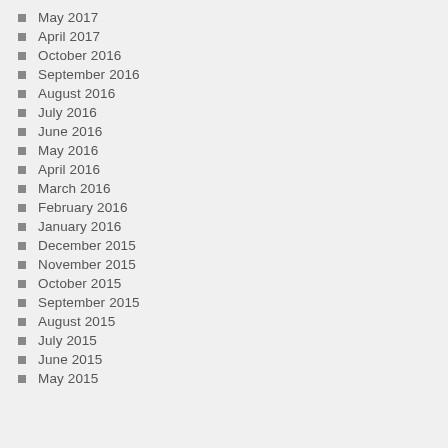May 2017
April 2017
October 2016
September 2016
August 2016
July 2016
June 2016
May 2016
April 2016
March 2016
February 2016
January 2016
December 2015
November 2015
October 2015
September 2015
August 2015
July 2015
June 2015
May 2015